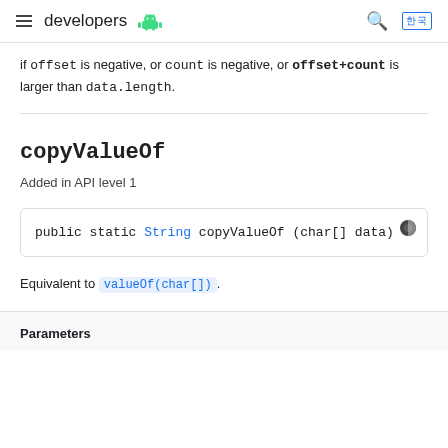developers [android logo]
if offset is negative, or count is negative, or offset+count is larger than data.length.
copyValueOf
Added in API level 1
public static String copyValueOf (char[] data)
Equivalent to valueOf(char[]).
Parameters